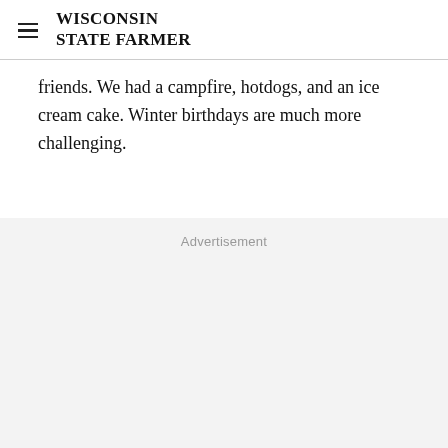WISCONSIN STATE FARMER
friends. We had a campfire, hotdogs, and an ice cream cake. Winter birthdays are much more challenging.
Advertisement